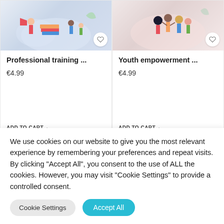[Figure (illustration): Professional training course card thumbnail - illustrated figures with books and megaphone on light blue background]
Professional training ...
€4.99
ADD TO CART→
[Figure (illustration): Youth empowerment course card thumbnail - illustrated group of diverse people on light pink background]
Youth empowerment ...
€4.99
ADD TO CART→
[Figure (illustration): Partial card thumbnail - dark navy blue background with illustrated figure]
[Figure (illustration): Partial card thumbnail - beige/tan background with orange plant illustration]
We use cookies on our website to give you the most relevant experience by remembering your preferences and repeat visits. By clicking "Accept All", you consent to the use of ALL the cookies. However, you may visit "Cookie Settings" to provide a controlled consent.